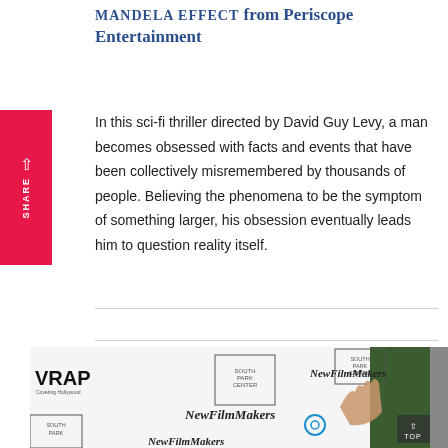MANDELA EFFECT from Periscope Entertainment
In this sci-fi thriller directed by David Guy Levy, a man becomes obsessed with facts and events that have been collectively misremembered by thousands of people. Believing the phenomena to be the symptom of something larger, his obsession eventually leads him to question reality itself.
[Figure (photo): Event backdrop/step-and-repeat banner showing logos including TheWrap, South Park Center, and NewFilmMakers, with a person's hand visible in front of the banner.]